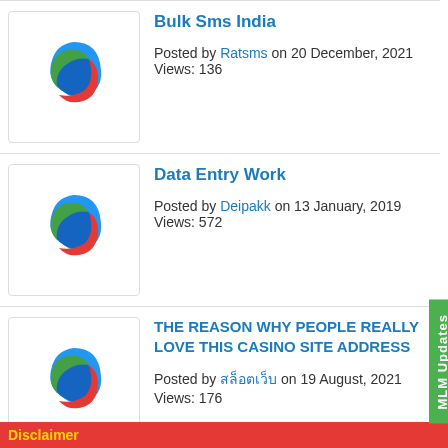Bulk Sms India
Posted by Ratsms on 20 December, 2021 Views: 136
Data Entry Work
Posted by Deipakk on 13 January, 2019 Views: 572
THE REASON WHY PEOPLE REALLY LOVE THIS CASINO SITE ADDRESS
Posted by [non-latin] on 19 August, 2021 Views: 176
HDFC Bank Call Center Hiring 7302738286
Posted by aryan on 15 January, 2019 Views: 553
Bulk SMS Service Provider Company - Logon Utility
Posted by Bharat Thakur on 25 December, 2017 Views: 993
SKY VOICE TECHNOLOGIES TOOL FREE NUMBER VIRTUAL NUMBER FANCY NUMBER
Disclaimer